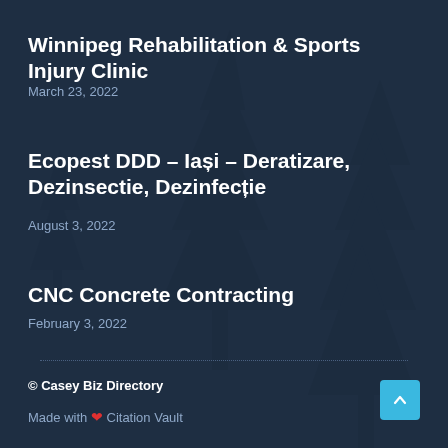Winnipeg Rehabilitation & Sports Injury Clinic
March 23, 2022
Ecopest DDD – Iași – Deratizare, Dezinsectie, Dezinfecție
August 3, 2022
CNC Concrete Contracting
February 3, 2022
© Casey Biz Directory
Made with ❤ Citation Vault